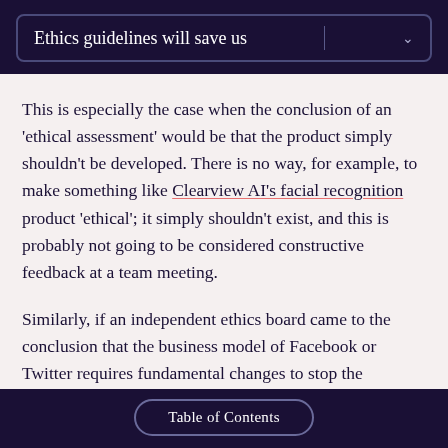Ethics guidelines will save us
This is especially the case when the conclusion of an 'ethical assessment' would be that the product simply shouldn't be developed. There is no way, for example, to make something like Clearview AI's facial recognition product 'ethical'; it simply shouldn't exist, and this is probably not going to be considered constructive feedback at a team meeting.
Similarly, if an independent ethics board came to the conclusion that the business model of Facebook or Twitter requires fundamental changes to stop the platform from causing harm, is it likely that these
Table of Contents